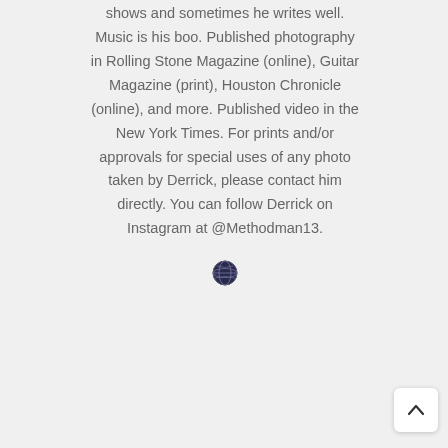shows and sometimes he writes well. Music is his boo. Published photography in Rolling Stone Magazine (online), Guitar Magazine (print), Houston Chronicle (online), and more. Published video in the New York Times. For prints and/or approvals for special uses of any photo taken by Derrick, please contact him directly. You can follow Derrick on Instagram at @Methodman13.
[Figure (illustration): Small globe icon]